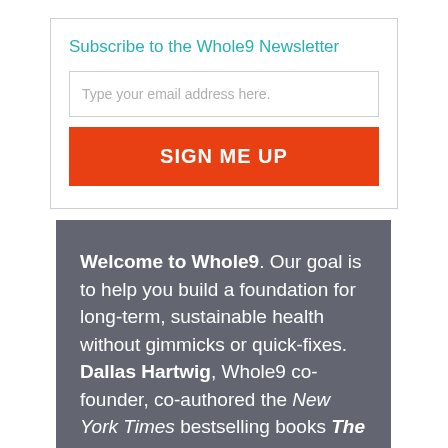Subscribe to the Whole9 Newsletter
Type your email address here.
SIGN ME UP
Welcome to Whole9. Our goal is to help you build a foundation for long-term, sustainable health without gimmicks or quick-fixes. Dallas Hartwig, Whole9 co-founder, co-authored the New York Times bestselling books The Whole30 and It Starts With Food. Subscribe to our newsletter to learn more about the 9